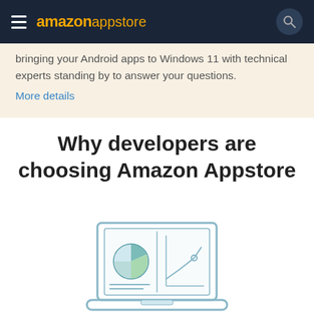amazon appstore
bringing your Android apps to Windows 11 with technical experts standing by to answer your questions. More details
Why developers are choosing Amazon Appstore
[Figure (illustration): Illustration of a laptop computer displaying a pie chart on the left panel and a line graph on the right panel, rendered in a minimalist teal/light blue line art style]